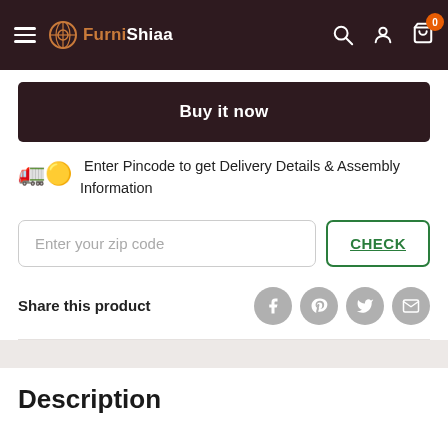FurniShiaa — Navigation bar with hamburger menu, logo, search, account, and cart (0) icons
Buy it now
🚛🟡 Enter Pincode to get Delivery Details & Assembly Information
Enter your zip code
CHECK
Share this product
Description